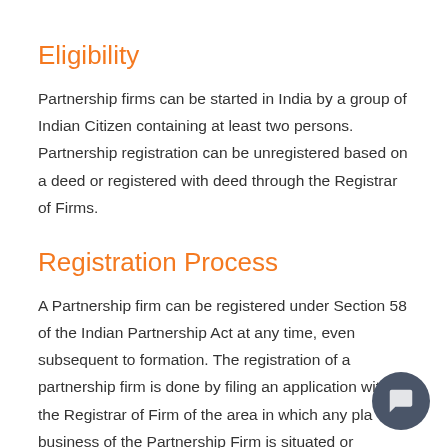Eligibility
Partnership firms can be started in India by a group of Indian Citizen containing at least two persons. Partnership registration can be unregistered based on a deed or registered with deed through the Registrar of Firms.
Registration Process
A Partnership firm can be registered under Section 58 of the Indian Partnership Act at any time, even subsequent to formation. The registration of a partnership firm is done by filing an application with the Registrar of Firm of the area in which any place of business of the Partnership Firm is situated or proposed to be situated. When the Registrar of Firms is